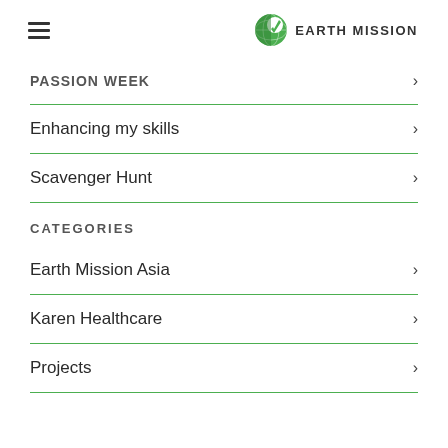EARTH MISSION
PASSION WEEK
Enhancing my skills
Scavenger Hunt
CATEGORIES
Earth Mission Asia
Karen Healthcare
Projects